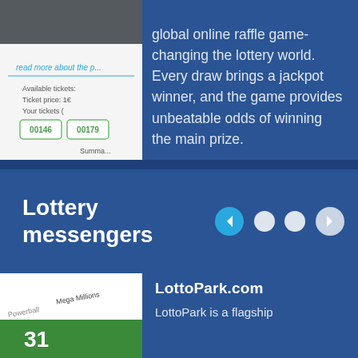[Figure (screenshot): Screenshot of an online raffle/lottery ticket interface showing ticket numbers 00146 and 00179, with fields for available tickets, ticket price, and a summary section. 'read more about the p...' link visible in blue.]
global online raffle game-changing the lottery world. Every draw brings a jackpot winner, and the game provides unbeatable odds of winning the main prize.
Lottery messengers
[Figure (screenshot): Screenshot of LottoPark.com website showing lottery options including Powerball and Mega Millions with a green ticket and number 31 visible.]
LottoPark.com
LottoPark is a flagship